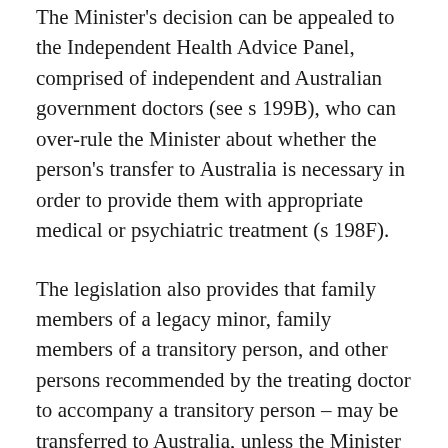The Minister's decision can be appealed to the Independent Health Advice Panel, comprised of independent and Australian government doctors (see s 199B), who can over-rule the Minister about whether the person's transfer to Australia is necessary in order to provide them with appropriate medical or psychiatric treatment (s 198F).
The legislation also provides that family members of a legacy minor, family members of a transitory person, and other persons recommended by the treating doctor to accompany a transitory person – may be transferred to Australia, unless the Minister intervenes within 72 hours on the grounds above (ss 198C, 198G).